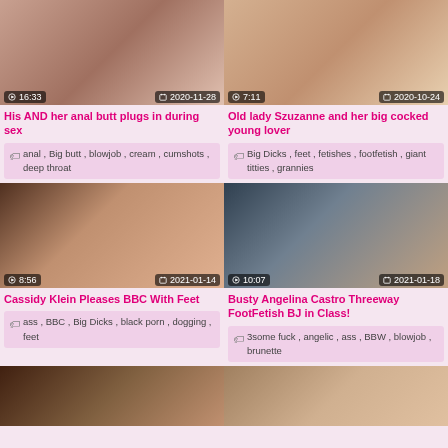[Figure (photo): Video thumbnail - anal butt plugs scene, duration 16:33, date 2020-11-28]
His AND her anal butt plugs in during sex
anal, Big butt, blowjob, cream, cumshots, deep throat
[Figure (photo): Video thumbnail - old lady Szuzanne scene, duration 7:11, date 2020-10-24]
Old lady Szuzanne and her big cocked young lover
Big Dicks, feet, fetishes, footfetish, giant titties, grannies
[Figure (photo): Video thumbnail - Cassidy Klein BBC feet scene, duration 8:56, date 2021-01-14]
Cassidy Klein Pleases BBC With Feet
ass, BBC, Big Dicks, black porn, dogging, feet
[Figure (photo): Video thumbnail - Busty Angelina Castro threeway footfetish BJ in class, duration 10:07, date 2021-01-18]
Busty Angelina Castro Threeway FootFetish BJ in Class!
3some fuck, angelic, ass, BBW, blowjob, brunette
[Figure (photo): Video thumbnail - partial, bottom row left]
[Figure (photo): Video thumbnail - partial, bottom row right]